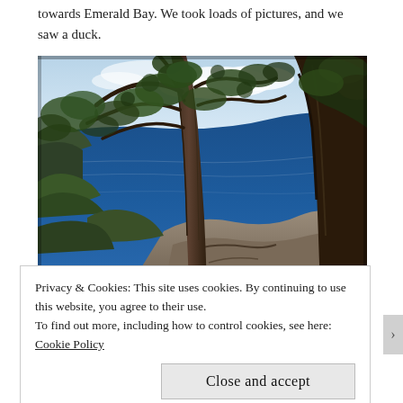towards Emerald Bay. We took loads of pictures, and we saw a duck.
[Figure (photo): Outdoor nature photograph showing tall pine trees in the foreground with a wide-angle view of a deep blue lake or bay below, rocky cliff edges, and a partly cloudy sky. The image appears to be taken from a high vantage point overlooking Emerald Bay.]
Privacy & Cookies: This site uses cookies. By continuing to use this website, you agree to their use.
To find out more, including how to control cookies, see here: Cookie Policy
Close and accept